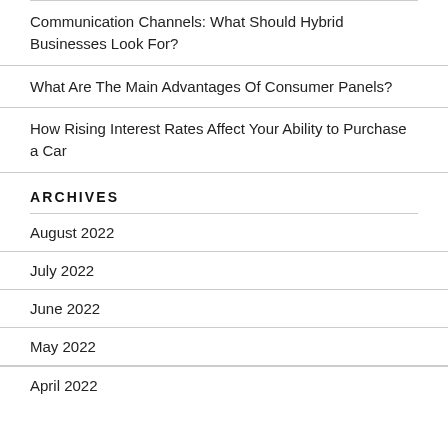Communication Channels: What Should Hybrid Businesses Look For?
What Are The Main Advantages Of Consumer Panels?
How Rising Interest Rates Affect Your Ability to Purchase a Car
ARCHIVES
August 2022
July 2022
June 2022
May 2022
April 2022